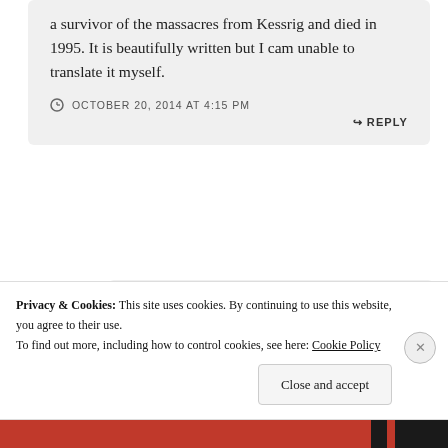a survivor of the massacres from Kessrig and died in 1995. It is beautifully written but I cam unable to translate it myself.
OCTOBER 20, 2014 AT 4:15 PM
REPLY
zohrabcenter
Privacy & Cookies: This site uses cookies. By continuing to use this website, you agree to their use. To find out more, including how to control cookies, see here: Cookie Policy
Close and accept